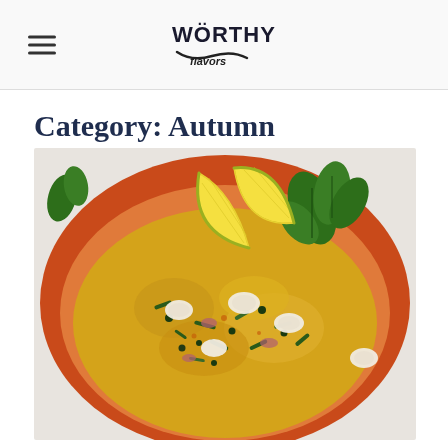Worthy Flavors logo and navigation
Category: Autumn
[Figure (photo): Overhead photo of a red/orange bowl filled with a spiced dish featuring shrimp or scallops, yellow grains or polenta, chopped dark green herbs (basil), capers, red onion, and garnished with two lemon wedges and fresh basil leaves on top.]